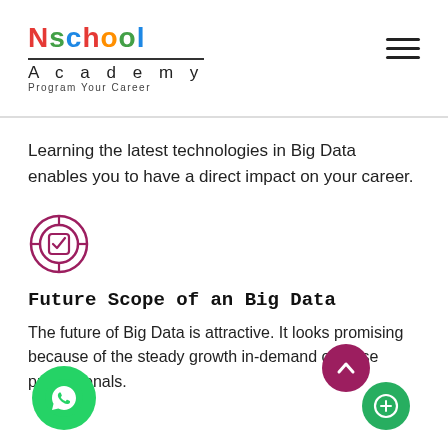Nschool Academy — Program Your Career
Learning the latest technologies in Big Data enables you to have a direct impact on your career.
[Figure (illustration): Target/crosshair icon with a checkmark inside, dark pink/maroon color]
Future Scope of an Big Data
The future of Big Data is attractive. It looks promising because of the steady growth in-demand of these professionals.
[Figure (logo): WhatsApp floating button icon, green circle]
[Figure (illustration): Scroll-to-top arrow button, dark pink circle]
[Figure (illustration): Chat/message button, green circle]